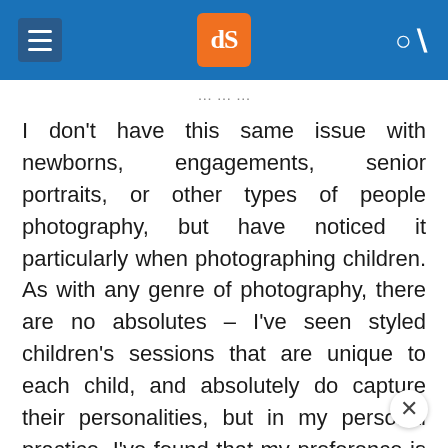dPS (digital Photography School) navigation bar with menu icon, logo, and search icon
I don't have this same issue with newborns, engagements, senior portraits, or other types of people photography, but have noticed it particularly when photographing children. As with any genre of photography, there are no absolutes – I've seen styled children's sessions that are unique to each child, and absolutely do capture their personalities, but in my personal practice, I've found that my preference is not to style children's sessions.